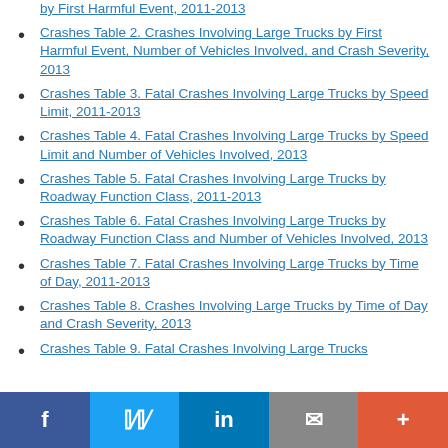by First Harmful Event, 2011-2013
Crashes Table 2. Crashes Involving Large Trucks by First Harmful Event, Number of Vehicles Involved, and Crash Severity, 2013
Crashes Table 3. Fatal Crashes Involving Large Trucks by Speed Limit, 2011-2013
Crashes Table 4. Fatal Crashes Involving Large Trucks by Speed Limit and Number of Vehicles Involved, 2013
Crashes Table 5. Fatal Crashes Involving Large Trucks by Roadway Function Class, 2011-2013
Crashes Table 6. Fatal Crashes Involving Large Trucks by Roadway Function Class and Number of Vehicles Involved, 2013
Crashes Table 7. Fatal Crashes Involving Large Trucks by Time of Day, 2011-2013
Crashes Table 8. Crashes Involving Large Trucks by Time of Day and Crash Severity, 2013
Crashes Table 9. Fatal Crashes Involving Large Trucks